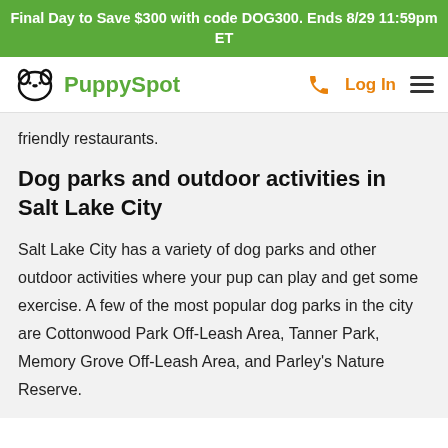Final Day to Save $300 with code DOG300. Ends 8/29 11:59pm ET
[Figure (logo): PuppySpot logo with dog face icon and green text, plus navigation icons (phone, Log In, hamburger menu)]
friendly restaurants.
Dog parks and outdoor activities in Salt Lake City
Salt Lake City has a variety of dog parks and other outdoor activities where your pup can play and get some exercise. A few of the most popular dog parks in the city are Cottonwood Park Off-Leash Area, Tanner Park, Memory Grove Off-Leash Area, and Parley's Nature Reserve.